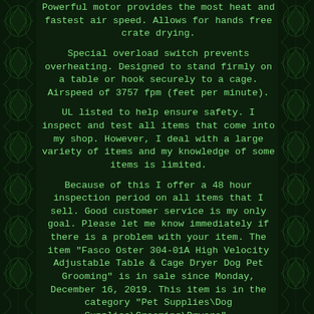Powerful motor provides the most heat and fastest air speed. Allows for hands free crate drying.
Special overload switch prevents overheating. Designed to stand firmly on a table or hook securely to a cage. Airspeed of 3757 fpm (feet per minute).
UL listed to help ensure safety. I inspect and test all items that come into my shop. However, I deal with a large variety of items and my knowledge of some items is limited.
Because of this I offer a 48 hour inspection period on all items that I sell. Good customer service is my only goal. Please let me know immediately if there is a problem with your item. The item "Fasco Oster 304-01A High Velocity Adjustable Table & Cage Dryer Dog Pet Grooming" is in sale since Monday, December 16, 2019. This item is in the category "Pet Supplies\Dog Supplies\Grooming\Dryers".
The seller is "frozendrosen" and is located in Durham, North Carolina. This item can be shipped to United States, Canada, United Kingdom, Denmark, Romania, Slovakia, Bulgaria, Czech republic, Finland, Hungary,